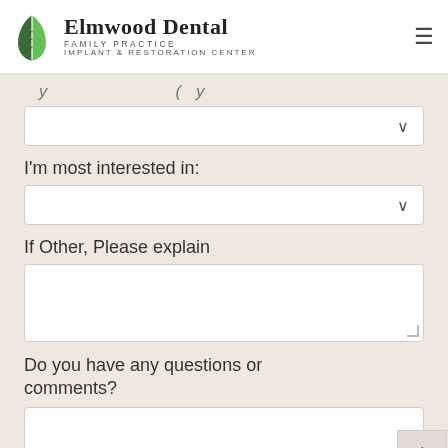[Figure (logo): Elmwood Dental logo with green leaf icon]
Elmwood Dental
FAMILY PRACTICE
IMPLANT & RESTORATION CENTER
(partial label - cut off at top of form area)
I'm most interested in:
If Other, Please explain
Do you have any questions or comments?